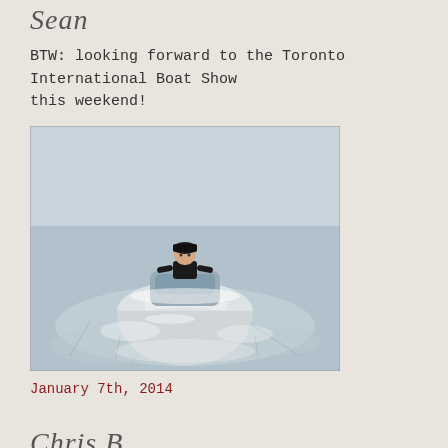Sean
BTW: looking forward to the Toronto International Boat Show this weekend!
[Figure (photo): A person in a small boat surrounded by ice and snow-covered water, viewed from the front of the boat.]
January 7th, 2014
Chris B.
Great timing for this one. Brrrr its cold outside. We are already planning to come to the UP. 2 boats confirmed and 2more who